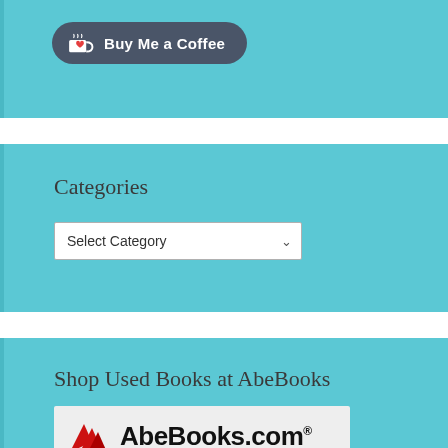[Figure (other): Buy Me a Coffee button with coffee cup icon on dark grey rounded background]
Categories
[Figure (other): Select Category dropdown widget]
Shop Used Books at AbeBooks
[Figure (logo): AbeBooks.com logo with red bird/wing mark and black text]